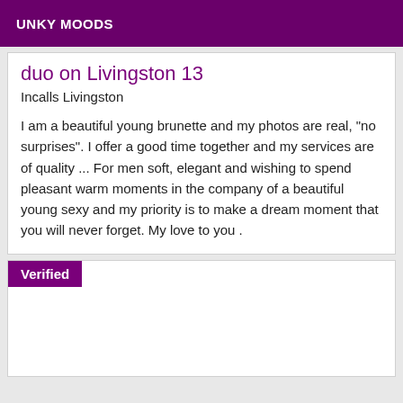UNKY MOODS
duo on Livingston 13
Incalls Livingston
I am a beautiful young brunette and my photos are real, "no surprises". I offer a good time together and my services are of quality ... For men soft, elegant and wishing to spend pleasant warm moments in the company of a beautiful young sexy and my priority is to make a dream moment that you will never forget. My love to you .
Verified